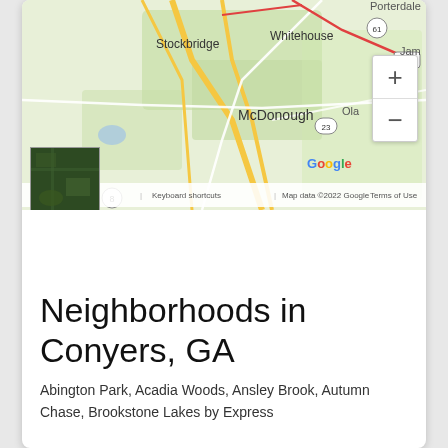[Figure (map): Google Maps view showing McDonough, Stockbridge, Whitehouse, Ola area in Georgia with road network, route markers (155, 23, 61, 8), zoom controls, and satellite thumbnail. Map data ©2022 Google.]
Neighborhoods in Conyers, GA
Abington Park, Acadia Woods, Ansley Brook, Autumn Chase, Brookstone Lakes by Express